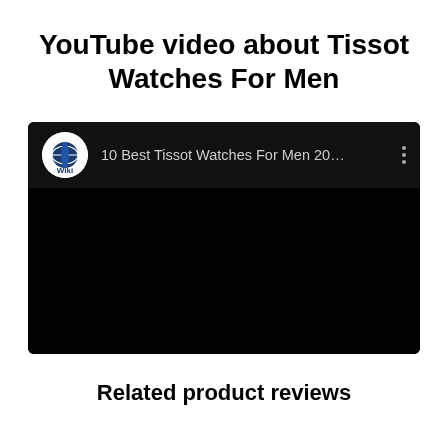YouTube video about Tissot Watches For Men
[Figure (screenshot): Embedded YouTube video thumbnail showing '10 Best Tissot Watches For Men 20...' with Wiki globe icon and three-dot menu, black video area]
Related product reviews